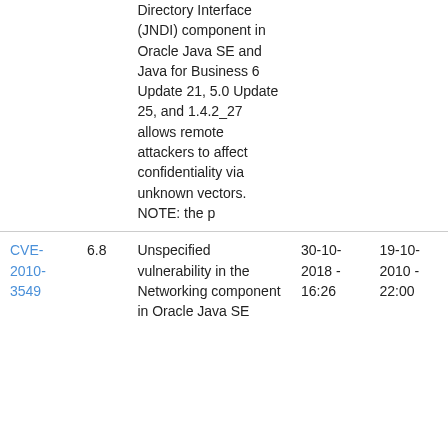| CVE | Score | Description | Date1 | Date2 |
| --- | --- | --- | --- | --- |
|  |  | Directory Interface (JNDI) component in Oracle Java SE and Java for Business 6 Update 21, 5.0 Update 25, and 1.4.2_27 allows remote attackers to affect confidentiality via unknown vectors. NOTE: the p |  |  |
| CVE-2010-3549 | 6.8 | Unspecified vulnerability in the Networking component in Oracle Java SE | 30-10-2018 - 16:26 | 19-10-2010 - 22:00 |